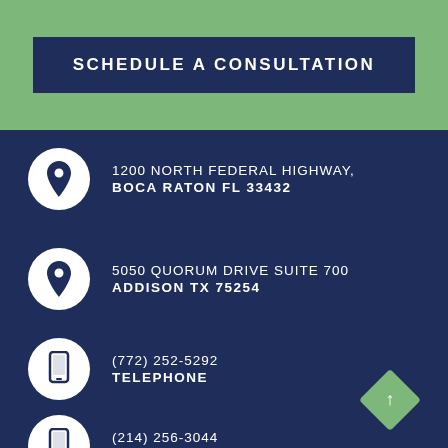SCHEDULE A CONSULTATION
1200 NORTH FEDERAL HIGHWAY, BOCA RATON FL 33432
5050 QUORUM DRIVE SUITE 700 ADDISON TX 75254
(772) 252-5292 TELEPHONE
(214) 256-3044 TELEPHONE